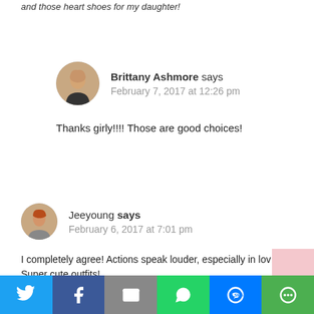and those heart shoes for my daughter!
Brittany Ashmore says
February 7, 2017 at 12:26 pm
Thanks girly!!!! Those are good choices!
Jeeyoung says
February 6, 2017 at 7:01 pm
I completely agree! Actions speak louder, especially in lov
Super cute outfits!